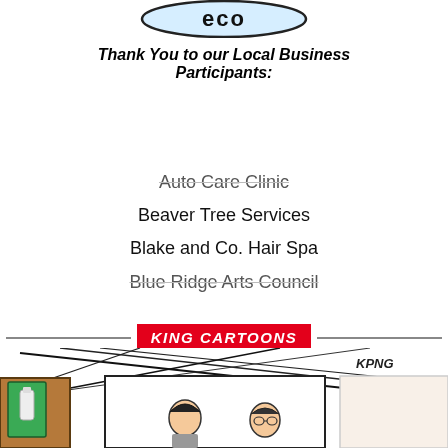[Figure (logo): Partial logo with blue ellipse and dark text showing 'eco' portion]
Thank You to our Local Business Participants:
Auto Care Clinic
Beaver Tree Services
Blake and Co. Hair Spa
Blue Ridge Arts Council
KING CARTOONS
[Figure (illustration): King Cartoons comic strip panel showing two people at a desk/counter with a green cabinet to the left, signed KING]